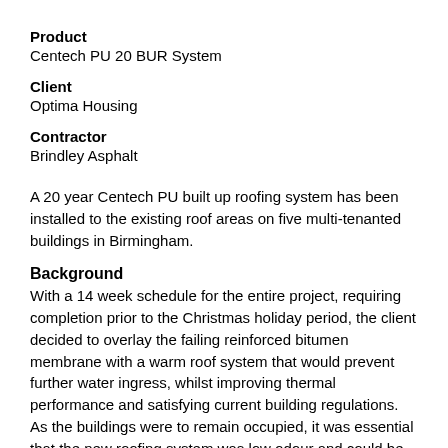Product
Centech PU 20 BUR System
Client
Optima Housing
Contractor
Brindley Asphalt
A 20 year Centech PU built up roofing system has been installed to the existing roof areas on five multi-tenanted buildings in Birmingham.
Background
With a 14 week schedule for the entire project, requiring completion prior to the Christmas holiday period, the client decided to overlay the failing reinforced bitumen membrane with a warm roof system that would prevent further water ingress, whilst improving thermal performance and satisfying current building regulations. As the buildings were to remain occupied, it was essential that the new roofing system was low odour and could be cold-applied quickly and quietly to avoid risk or disruption